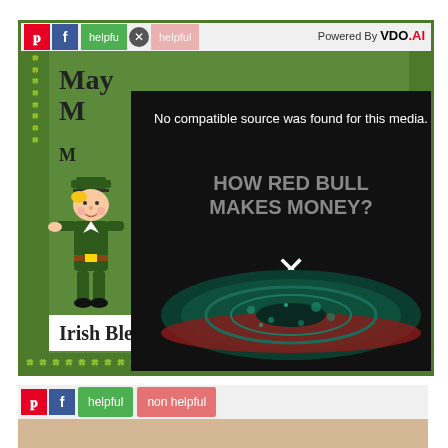[Figure (screenshot): Screenshot of a webpage showing a green St. Patrick's Day themed card with a leprechaun illustration, partially obscured by a video player overlay. The video player shows 'No compatible source was found for this media.' with text 'HOW RED BULL MAKES MONEY?' and an image of a can with a vortex. A toolbar at top has Pinterest, Facebook, helpful, X (close), and non-helpful buttons, plus 'Powered By VDO.AI' text. An Irish Blessing banner is visible at the bottom of the card.]
No compatible source was found for this media.
HOW RED BULL MAKES MONEY?
Irish Blessing
helpful
non helpful
Powered By VDO.AI